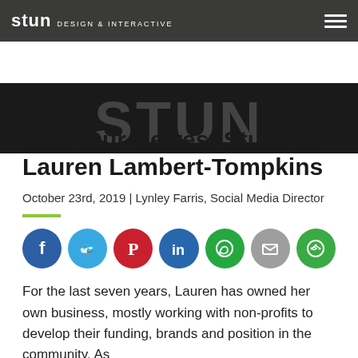stun DESIGN & INTERACTIVE
[Figure (photo): Dark hero image strip with large faint white lettering in background]
Meet Our Newest Stunner, Lauren Lambert-Tompkins
October 23rd, 2019 | Lynley Farris, Social Media Director
[Figure (infographic): Row of 7 social media share icons: Facebook (blue), Twitter (light blue), Pinterest (red), LinkedIn (blue), WhatsApp (green), Email (gray), Share (green)]
For the last seven years, Lauren has owned her own business, mostly working with non-profits to develop their funding, brands and position in the community. As